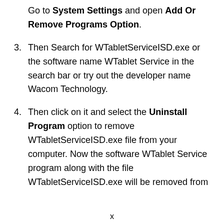Go to System Settings and open Add Or Remove Programs Option.
3. Then Search for WTabletServiceISD.exe or the software name WTablet Service in the search bar or try out the developer name Wacom Technology.
4. Then click on it and select the Uninstall Program option to remove WTabletServiceISD.exe file from your computer. Now the software WTablet Service program along with the file WTabletServiceISD.exe will be removed from
x